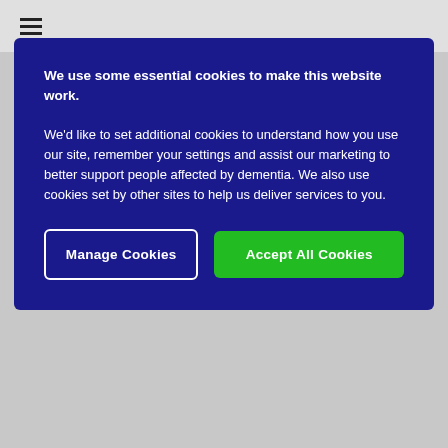[Figure (screenshot): Cookie consent overlay on a website. Blue overlay with title 'We use some essential cookies to make this website work.' and body text about additional cookies. Two buttons: 'Manage Cookies' (outlined) and 'Accept All Cookies' (green).]
Bless you my love ❤
update2020
Registered User
Dec 12, 2021
Fi...